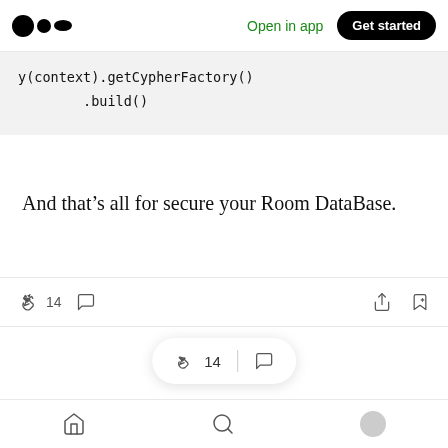Medium — Open in app | Get started
y(context).getCypherFactory()
        .build()
And that's all for secure your Room DataBase.
👏 14  💬 (comment icon) | share | save+
More from Elisa Facinchal   Follow  5+